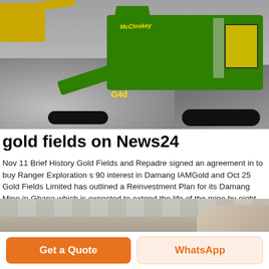[Figure (photo): Green McCloskey mining/crushing machine on gravel with yellow excavator in background]
gold fields on News24
Nov 11 Brief History Gold Fields and Repadre signed an agreement in to buy Ranger Exploration s 90 interest in Damang IAMGold and Oct 25 Gold Fields Limited has outlined a Reinvestment Plan for its Damang Mine in Ghana which is expected to extend the life of the mine by eight gold fields articles on News24 10 25 19 17 Gold Fields will invest $14bn to extend the life of its Damang operation in Ghana by eight years
[Figure (photo): Interior industrial ceiling/structure photo]
Get a Quote
WhatsApp